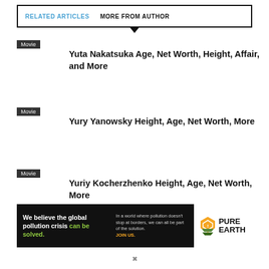RELATED ARTICLES   MORE FROM AUTHOR
Movie — Yuta Nakatsuka Age, Net Worth, Height, Affair, and More
Movie — Yury Yanowsky Height, Age, Net Worth, More
Movie — Yuriy Kocherzhenko Height, Age, Net Worth, More
[Figure (infographic): Pure Earth advertisement banner: 'We believe the global pollution crisis can be solved.' with tagline 'In a world where pollution doesn't stop at borders, we can all be part of the solution. JOIN US.' and Pure Earth logo with diamond/chevron icon.]